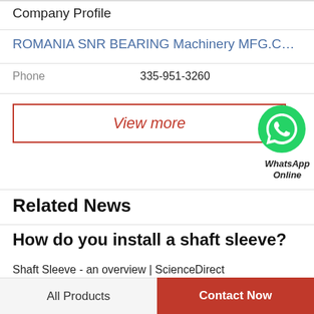Company Profile
ROMANIA SNR BEARING Machinery MFG.CO...
Phone    335-951-3260
View more
[Figure (logo): WhatsApp green phone icon bubble with text 'WhatsApp Online' below]
Related News
How do you install a shaft sleeve?
Shaft Sleeve - an overview | ScienceDirect TopicsStructural parts of a seal installation such as shaft sleeve, gland plates, bushings, and collars used to
All Products    Contact Now